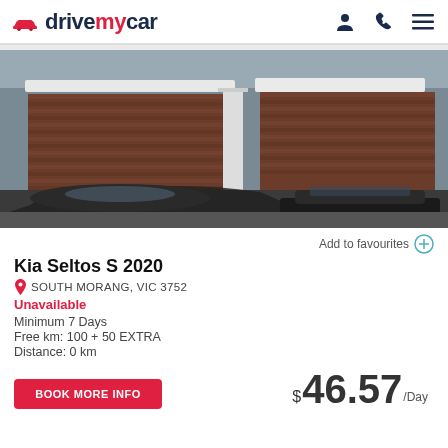drivemycar
[Figure (photo): Photograph of a car parked in a garage with brick walls and a concrete ceiling. Two vehicles are visible with the front/side profiles showing.]
Add to favourites
Kia Seltos S 2020
SOUTH MORANG, VIC 3752
Unavailable
Minimum 7 Days
Free km: 100 + 50 EXTRA
Distance: 0 km
BOOK MORE INFO
$46.57 /Day